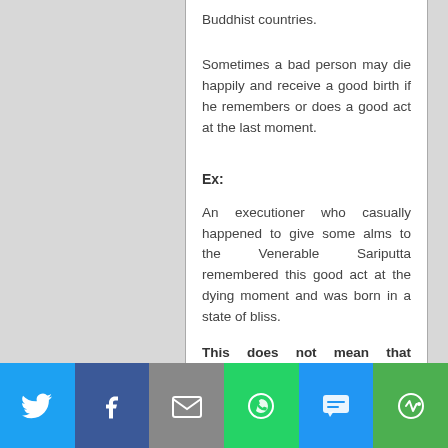Buddhist countries.
Sometimes a bad person may die happily and receive a good birth if he remembers or does a good act at the last moment.
Ex:
An executioner who casually happened to give some alms to the Venerable Sariputta remembered this good act at the dying moment and was born in a state of bliss.
This does not mean that although he enjoys a good birth he will be exempted from the effects of the evil deeds which he accumulated during his lifetime. They will have their due effects as occasions arise.